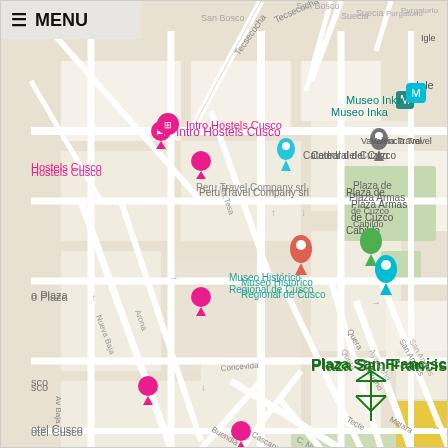[Figure (map): Google Maps screenshot showing streets of Cusco, Peru, centered near Plaza San Francisco. Visible landmarks include Museo Inka, Catedral del Cusco, Plaza de Armas/Cabildo de Cuzco, Museo Histórico Regional de Cusco, Plaza San Francisco, Mercado Central de San Pedro, SAS Travel Peru, Andina Travel, Peru Travel Company srl, Intro Hostels Cusco, Hostels Cusco, Hotel Cusco, Short Inca, Inca Trail Trekking Company, Cen Tradicional. Street names visible: Tecsecocha, Suecia, San Bosco, Purgatorio, Nueva Baja, Arona, Sta. Tesa, Concevida, Buendia, Cascaparo, C. Nueva, Tecte, Matara, San Andres, Ayacucho, Quera.]
≡ MENU